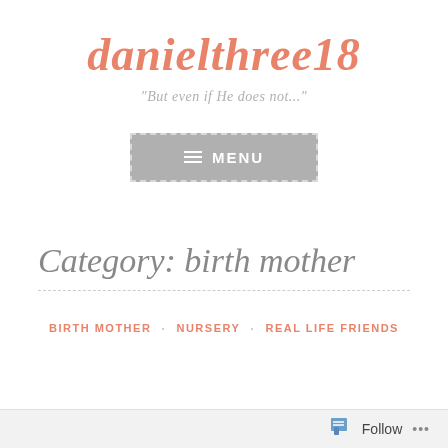danielthree18
"But even if He does not..."
[Figure (screenshot): Gray MENU button with dashed border and hamburger icon]
Category: birth mother
BIRTH MOTHER · NURSERY · REAL LIFE FRIENDS
Follow ...